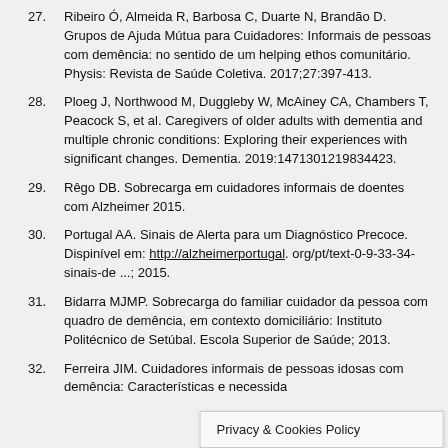27. Ribeiro Ó, Almeida R, Barbosa C, Duarte N, Brandão D. Grupos de Ajuda Mútua para Cuidadores: Informais de pessoas com demência: no sentido de um helping ethos comunitário. Physis: Revista de Saúde Coletiva. 2017;27:397-413.
28. Ploeg J, Northwood M, Duggleby W, McAiney CA, Chambers T, Peacock S, et al. Caregivers of older adults with dementia and multiple chronic conditions: Exploring their experiences with significant changes. Dementia. 2019:1471301219834423.
29. Rêgo DB. Sobrecarga em cuidadores informais de doentes com Alzheimer 2015.
30. Portugal AA. Sinais de Alerta para um Diagnóstico Precoce. Dispinível em: http://alzheimerportugal. org/pt/text-0-9-33-34-sinais-de ...; 2015.
31. Bidarra MJMP. Sobrecarga do familiar cuidador da pessoa com quadro de demência, em contexto domiciliário: Instituto Politécnico de Setúbal. Escola Superior de Saúde; 2013.
32. Ferreira JIM. Cuidadores informais de pessoas idosas com demência: Características e necessida...
Privacy & Cookies Policy